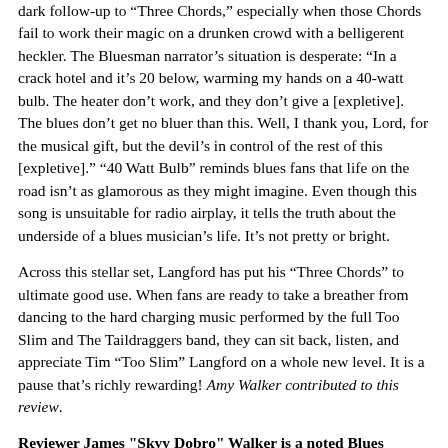dark follow-up to “Three Chords,” especially when those Chords fail to work their magic on a drunken crowd with a belligerent heckler. The Bluesman narrator’s situation is desperate: “In a crack hotel and it’s 20 below, warming my hands on a 40-watt bulb. The heater don’t work, and they don’t give a [expletive]. The blues don’t get no bluer than this. Well, I thank you, Lord, for the musical gift, but the devil’s in control of the rest of this [expletive].” “40 Watt Bulb” reminds blues fans that life on the road isn’t as glamorous as they might imagine. Even though this song is unsuitable for radio airplay, it tells the truth about the underside of a blues musician’s life. It’s not pretty or bright.
Across this stellar set, Langford has put his “Three Chords” to ultimate good use. When fans are ready to take a breather from dancing to the hard charging music performed by the full Too Slim and The Taildraggers band, they can sit back, listen, and appreciate Tim “Too Slim” Langford on a whole new level. It is a pause that’s richly rewarding! Amy Walker contributed to this review.
Reviewer James "Skyy Dobro" Walker is a noted Blues writer, DJ, Master of Ceremonies, and Blues Blast contributor. His weekly radio show "Friends of the Blues" can be heard Saturdays 8 pm - Midnight on WKCC 91.1 FM and at www.wkccradio.org in Kankakee, Il...